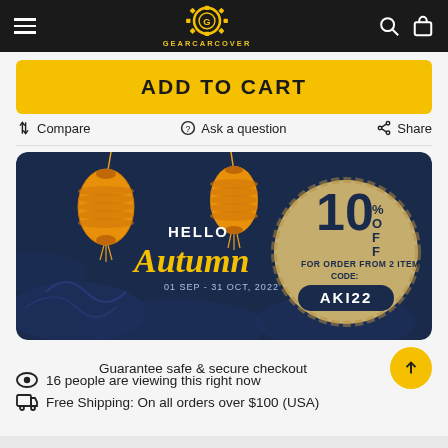GEARCARCOVER
ADD TO CART
Compare  Ask a question  Share
[Figure (infographic): Hello Autumn promotional banner with orange lanterns on a dark navy background. Text reads HELLO Autumn 01 SEP-31 OCT, 2022. On the right a golden circle with 10% OFF FOR ORDER FROM 2 ITEMS CODE: AKI22]
Guarantee safe & secure checkout
16 people are viewing this right now
Free Shipping: On all orders over $100 (USA)